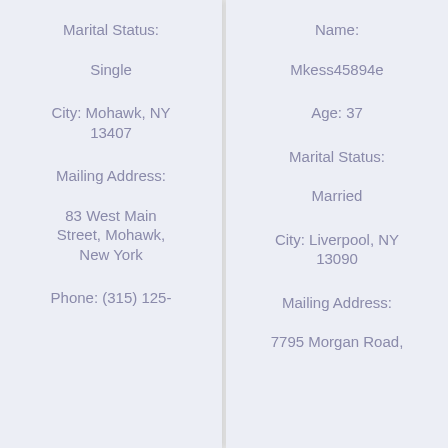Marital Status:
Single
City: Mohawk, NY 13407
Mailing Address:
83 West Main Street, Mohawk, New York
Phone: (315) 125-
Name:
Mkess45894e
Age: 37
Marital Status:
Married
City: Liverpool, NY 13090
Mailing Address:
7795 Morgan Road,